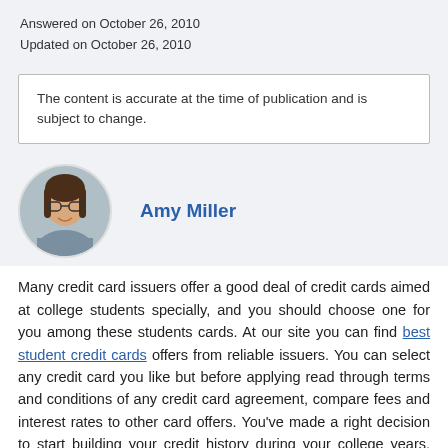Answered on October 26, 2010
Updated on October 26, 2010
The content is accurate at the time of publication and is subject to change.
[Figure (photo): Circular profile photo of Amy Miller, a woman with glasses and brown hair]
Amy Miller
Many credit card issuers offer a good deal of credit cards aimed at college students specially, and you should choose one for you among these students cards. At our site you can find best student credit cards offers from reliable issuers. You can select any credit card you like but before applying read through terms and conditions of any credit card agreement, compare fees and interest rates to other card offers. You've made a right decision to start building your credit history during your college years. Keep in mind your credit report indicating your credit score also